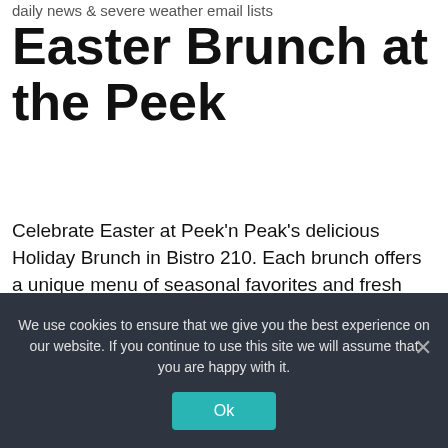daily news & severe weather email lists
Easter Brunch at the Peek
Celebrate Easter at Peek'n Peak's delicious Holiday Brunch in Bistro 210. Each brunch offers a unique menu of seasonal favorites and fresh flavors to treat your entire family. Seating's begin at 11:00 AM, last seating at 5:30 PM Reservations are required by calling (716) 355-5111. Learn more about this event
We use cookies to ensure that we give you the best experience on our website. If you continue to use this site we will assume that you are happy with it.